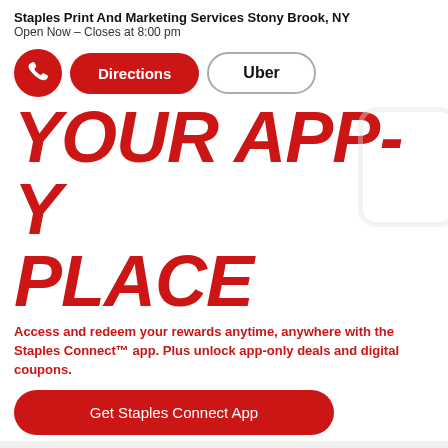Staples Print And Marketing Services Stony Brook, NY
Open Now – Closes at 8:00 pm
[Figure (infographic): Navigation buttons row: red phone icon circle button, red 'Directions' pill button, white 'Uber' pill button with border]
YOUR APP-Y PLACE
Access and redeem your rewards anytime, anywhere with the Staples Connect™ app. Plus unlock app-only deals and digital coupons.
[Figure (other): Red 'Get Staples Connect App' pill button]
Your small business is anything but small. That's why you need a print partner you can count on. Discover a team of Print Advisors at our Stony Brook, NY store ready to help you bring your big ideas to life.
Services available at Staples 2100 Nesconset Highway, Stony Brook, NY